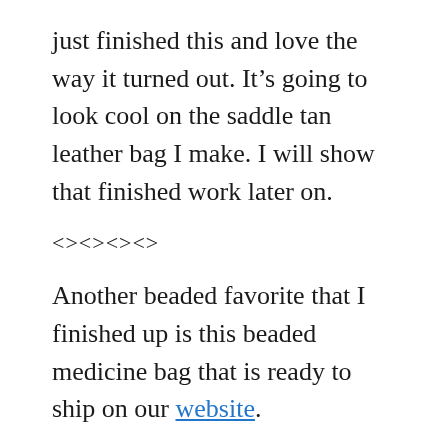just finished this and love the way it turned out. It’s going to look cool on the saddle tan leather bag I make. I will show that finished work later on.
<><><><>
Another beaded favorite that I finished up is this beaded medicine bag that is ready to ship on our website.